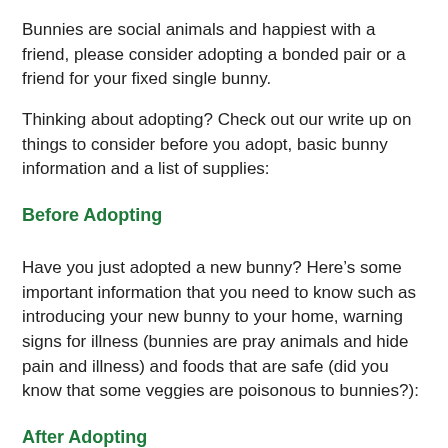Bunnies are social animals and happiest with a friend, please consider adopting a bonded pair or a friend for your fixed single bunny.
Thinking about adopting? Check out our write up on things to consider before you adopt, basic bunny information and a list of supplies:
Before Adopting
Have you just adopted a new bunny? Here’s some important information that you need to know such as introducing your new bunny to your home, warning signs for illness (bunnies are pray animals and hide pain and illness) and foods that are safe (did you know that some veggies are poisonous to bunnies?):
After Adopting